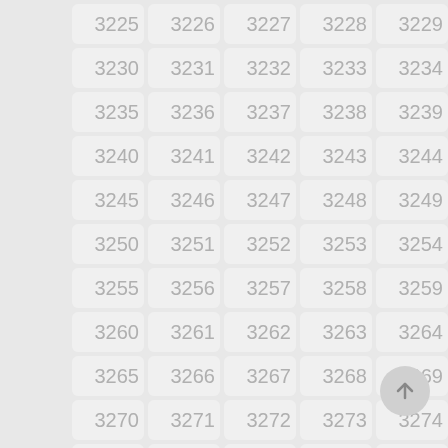[Figure (other): A grid of numbered cells from 3225 to 3279, arranged in 5 columns and 11 rows, with light gray rounded rectangle tiles on a gray background. A circular floating action button with an upward arrow is in the bottom-right corner.]